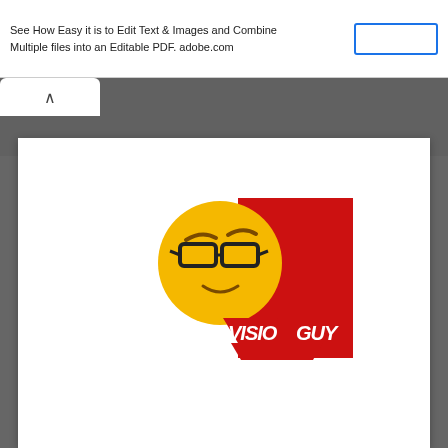See How Easy it is to Edit Text & Images and Combine Multiple files into an Editable PDF. adobe.com
[Figure (logo): Visio Guy logo: a smiling emoji face wearing glasses next to a red rectangle with italic bold text 'VISIO GUY' and a red downward chevron, overlapping the rectangle.]